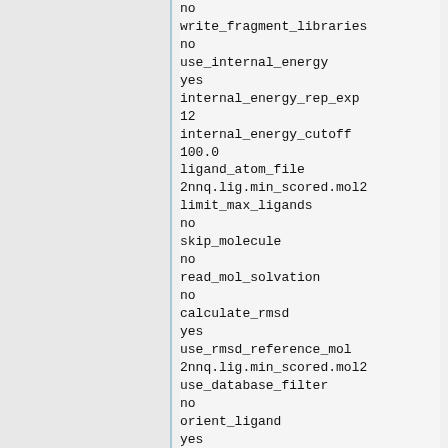no
write_fragment_libraries
no
use_internal_energy
yes
internal_energy_rep_exp
12
internal_energy_cutoff
100.0
ligand_atom_file
2nnq.lig.min_scored.mol2
limit_max_ligands
no
skip_molecule
no
read_mol_solvation
no
calculate_rmsd
yes
use_rmsd_reference_mol
2nnq.lig.min_scored.mol2
use_database_filter
no
orient_ligand
yes